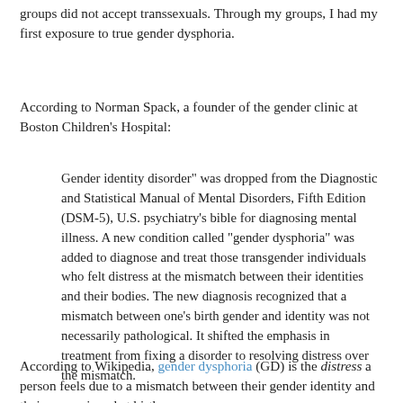groups did not accept transsexuals. Through my groups, I had my first exposure to true gender dysphoria.
According to Norman Spack, a founder of the gender clinic at Boston Children's Hospital:
Gender identity disorder” was dropped from the Diagnostic and Statistical Manual of Mental Disorders, Fifth Edition (DSM-5), U.S. psychiatry’s bible for diagnosing mental illness. A new condition called “gender dysphoria” was added to diagnose and treat those transgender individuals who felt distress at the mismatch between their identities and their bodies. The new diagnosis recognized that a mismatch between one’s birth gender and identity was not necessarily pathological. It shifted the emphasis in treatment from fixing a disorder to resolving distress over the mismatch.
According to Wikipedia, gender dysphoria (GD) is the distress a person feels due to a mismatch between their gender identity and their sex assigned at birth.